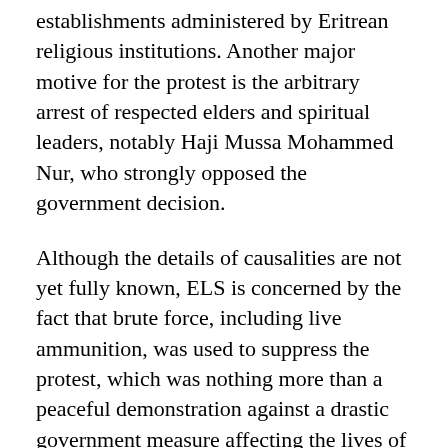establishments administered by Eritrean religious institutions. Another major motive for the protest is the arbitrary arrest of respected elders and spiritual leaders, notably Haji Mussa Mohammed Nur, who strongly opposed the government decision.
Although the details of causalities are not yet fully known, ELS is concerned by the fact that brute force, including live ammunition, was used to suppress the protest, which was nothing more than a peaceful demonstration against a drastic government measure affecting the lives of thousands of people. In our view, the protest signifies one fundamental reality. In today's Eritrea, citizens have no choice for d...